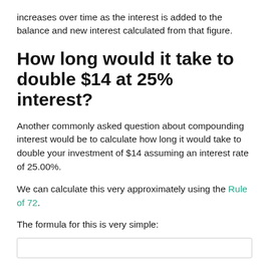increases over time as the interest is added to the balance and new interest calculated from that figure.
How long would it take to double $14 at 25% interest?
Another commonly asked question about compounding interest would be to calculate how long it would take to double your investment of $14 assuming an interest rate of 25.00%.
We can calculate this very approximately using the Rule of 72.
The formula for this is very simple: